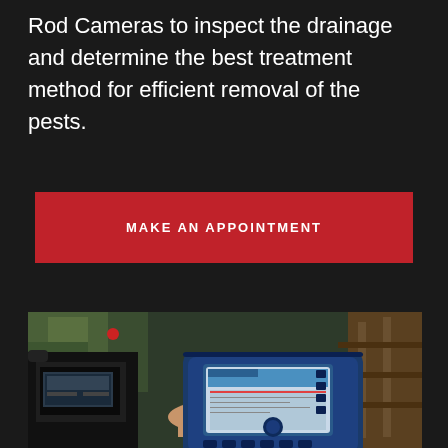Rod Cameras to inspect the drainage and determine the best treatment method for efficient removal of the pests.
MAKE AN APPOINTMENT
[Figure (photo): Person holding a blue handheld inspection camera device with a screen displaying drainage camera footage, outdoors with garden/wooden structure visible in background.]